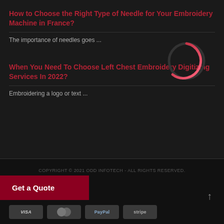How to Choose the Right Type of Needle for Your Embroidery Machine in France?
The importance of needles goes ...
When You Need To Choose Left Chest Embroidery Digitizing Services In 2022?
Embroidering a logo or text ...
[Figure (other): Loading spinner circle with red-pink gradient arc on dark background]
COPYRIGHT © 2021 ODD INFOTECH - ALL RIGHTS RESERVED.
Get a Quote
[Figure (other): Payment icons: VISA, Mastercard, PayPal, Stripe]